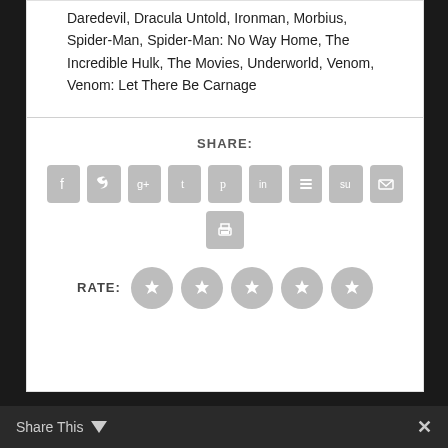Daredevil, Dracula Untold, Ironman, Morbius, Spider-Man, Spider-Man: No Way Home, The Incredible Hulk, The Movies, Underworld, Venom, Venom: Let There Be Carnage
SHARE:
[Figure (infographic): Row of 9 social share icon buttons (Facebook, Twitter, Google+, Tumblr, Pinterest, LinkedIn, Buffer, StumbleUpon, Email) and one print button, all in grey rounded squares]
RATE:
[Figure (infographic): Five grey star rating circles]
Share This